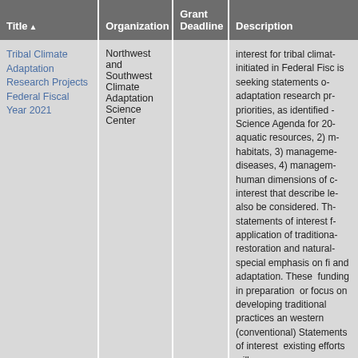| Title ▲ | Organization | Grant Deadline | Description |
| --- | --- | --- | --- |
| Tribal Climate Adaptation Research Projects Federal Fiscal Year 2021 | Northwest and Southwest Climate Adaptation Science Center |  | interest for tribal climat... initiated in Federal Fisc... is seeking statements o... adaptation research pr... priorities, as identified ... Science Agenda for 20... aquatic resources, 2) m... habitats, 3) manageme... diseases, 4) managem... human dimensions of c... interest that describe le... also be considered. Th... statements of interest f... application of traditiona... restoration and natural... special emphasis on fi... and adaptation. These ... funding in preparation ... or focus on developing ... traditional practices an... western (conventional)... Statements of interest ... existing efforts will... |